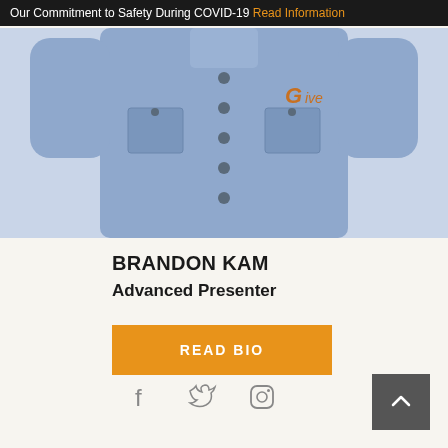Our Commitment to Safety During COVID-19 Read Information
[Figure (photo): Person wearing a light blue button-up work shirt with a company logo (G-shaped icon) on the chest, shown from shoulders to mid-torso]
BRANDON KAM
Advanced Presenter
READ BIO
[Figure (infographic): Social media icons: Facebook (f), Twitter (bird), Instagram (camera outline)]